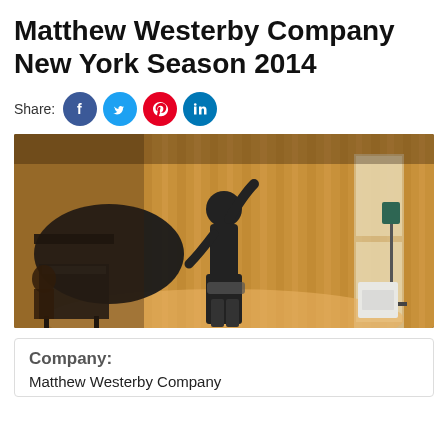Matthew Westerby Company New York Season 2014
Share:
[Figure (photo): Two dancers performing on a wood-floored stage. A grand piano is visible on the left with a pianist seated at it. The background has wooden vertical paneling. On the right side there is a speaker on a stand and a white rectangular equipment box. The dancers are dressed in black.]
Company:
Matthew Westerby Company